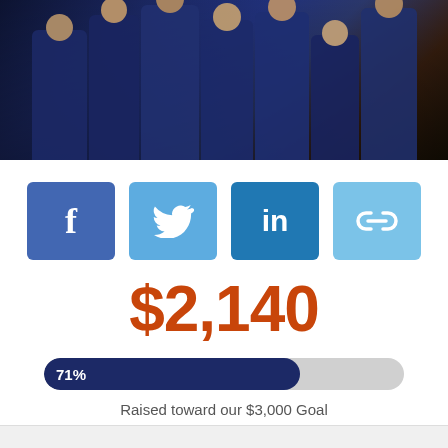[Figure (photo): Team photo of Salem girls lacrosse players in navy/orange uniforms celebrating outdoors at night]
[Figure (infographic): Row of four social sharing buttons: Facebook (dark blue, f icon), Twitter (light blue, bird icon), LinkedIn (medium blue, in icon), Link/share (lighter blue, chain icon)]
$2,140
[Figure (infographic): Progress bar showing 71% filled in navy, remainder in gray]
Raised toward our $3,000 Goal
22 Donors
[Figure (illustration): Clock/alarm icon in gray and navy indicating time has ended]
PROJECT HAS ENDED